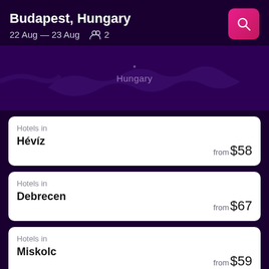Budapest, Hungary
22 Aug — 23 Aug  👥 2
Hungary
Hotels in
Hévíz
from $58
Hotels in
Debrecen
from $67
Hotels in
Miskolc
from $59
Hotels in
Sopron